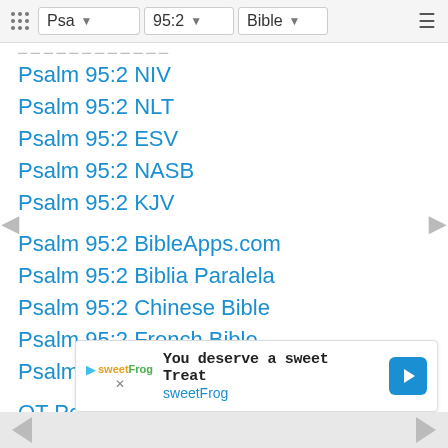Psa  95:2  Bible
Psalm 95:2 NIV
Psalm 95:2 NLT
Psalm 95:2 ESV
Psalm 95:2 NASB
Psalm 95:2 KJV
Psalm 95:2 BibleApps.com
Psalm 95:2 Biblia Paralela
Psalm 95:2 Chinese Bible
Psalm 95:2 French Bible
Psalm 95:2 Catholic Bible
OT Poetry: Psalm 95:2 Let's come before his presence with thanksgiving (Psalm Ps Psa.)
[Figure (screenshot): Ad banner for sweetFrog: 'You deserve a sweet Treat' with sweetFrog logo and navigation icon]